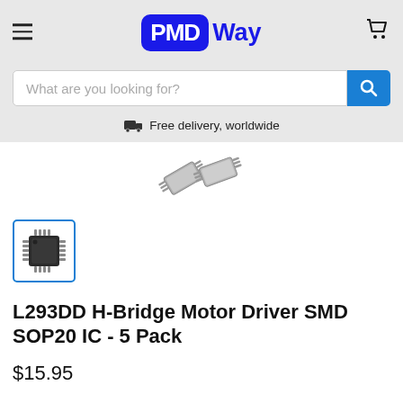PMDWay
What are you looking for?
Free delivery, worldwide
[Figure (photo): Two L293DD SMD ICs shown at an angle, silver/metallic chip packages visible against white background]
[Figure (photo): Thumbnail image of L293DD H-Bridge Motor Driver SMD SOP20 IC chip, dark IC package with multiple pins, shown from above]
L293DD H-Bridge Motor Driver SMD SOP20 IC - 5 Pack
$15.95